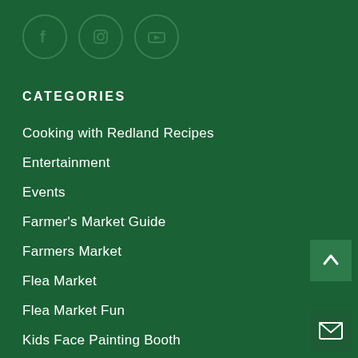[Figure (illustration): Three social media icons in circles: Facebook, Instagram, YouTube]
CATEGORIES
Cooking with Redland Recipes
Entertainment
Events
Farmer's Market Guide
Farmers Market
Flea Market
Flea Market Fun
Kids Face Painting Booth
Kids Fun Zone
Redland Market Village
Redland Village Market
[Figure (illustration): Back to top chevron button (dark green square with upward arrow)]
[Figure (illustration): Email/contact button (dark green square with envelope icon)]